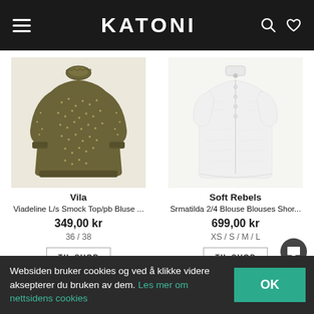KATONI
[Figure (photo): Dark olive/khaki long-sleeve smock blouse with small floral pattern, high neck with ruffle, and smocked cuffs]
Vila
Viadeline L/s Smock Top/pb Bluse ...
349,00 kr
36 / 38
[Figure (photo): White short-sleeve blouse with mandarin collar and button front]
Soft Rebels
Srmatilda 2/4 Blouse Blouses Shor...
699,00 kr
XS / S / M / L
Websiden bruker cookies og ved å klikke videre aksepterer du bruken av dem. Les mer om nettsidens cookies